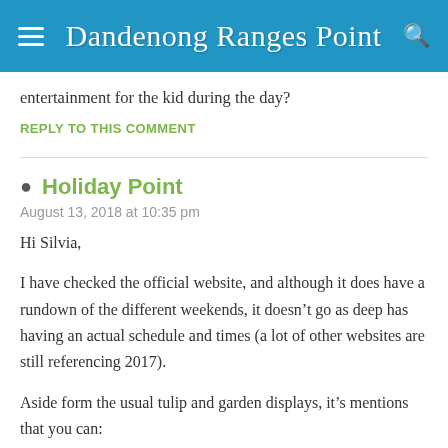Dandenong Ranges Point
entertainment for the kid during the day?
REPLY TO THIS COMMENT
Holiday Point
August 13, 2018 at 10:35 pm
Hi Silvia,
I have checked the official website, and although it does have a rundown of the different weekends, it doesn’t go as deep has having an actual schedule and times (a lot of other websites are still referencing 2017).
Aside form the usual tulip and garden displays, it’s mentions that you can: